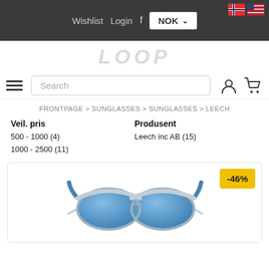Wishlist  Login  f  NOK
[Figure (logo): LOOP brand logo in light gray italic stylized lettering]
Search
FRONTPAGE > SUNGLASSES > SUNGLASSES > LEECH
Veil. pris
500 - 1000 (4)
1000 - 2500 (11)
Produsent
Leech inc AB (15)
[Figure (photo): Product card showing a pair of sunglasses with gray frame and blue lenses/arms, with a -46% yellow discount badge in the top right corner]